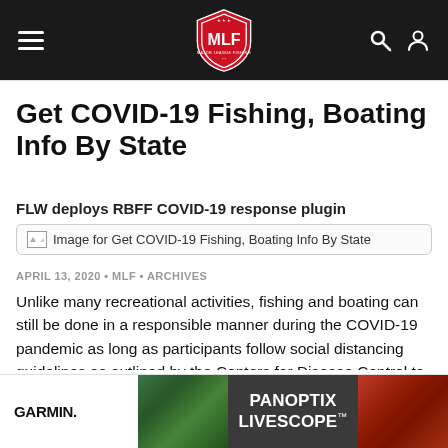[Figure (logo): MLF (Major League Fishing) navigation header bar with hamburger menu icon on the left, MLF red shield logo in the center, and search and user account icons on the right, on a dark/black background.]
Get COVID-19 Fishing, Boating Info By State
FLW deploys RBFF COVID-19 response plugin
[Figure (photo): Image placeholder for Get COVID-19 Fishing, Boating Info By State]
APRIL 13, 2020 • MLF • ARCHIVES
Unlike many recreational activities, fishing and boating can still be done in a responsible manner during the COVID-19 pandemic as long as participants follow social distancing guidelines as outlined by the Centers for Disease Control to
[Figure (screenshot): Garmin advertisement banner showing PANOPTIX LIVESCOPE product with an underwater fish image on the right side]